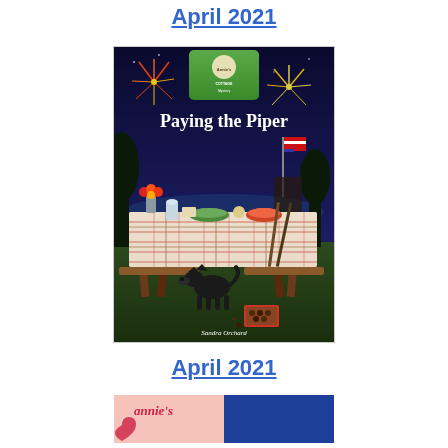April 2021
[Figure (illustration): Book cover for 'Paying the Piper' by Sandra Orchard. Annie's Cottage Mystery series. Features a night scene with fireworks, a picnic table with a plaid tablecloth covered in food and flowers, an American flag, and a black Scottish terrier dog sitting beneath the table with a box of chocolates nearby.]
April 2021
[Figure (illustration): Partial view of another Annie's book cover at the bottom of the page, showing the Annie's logo and a blue background.]